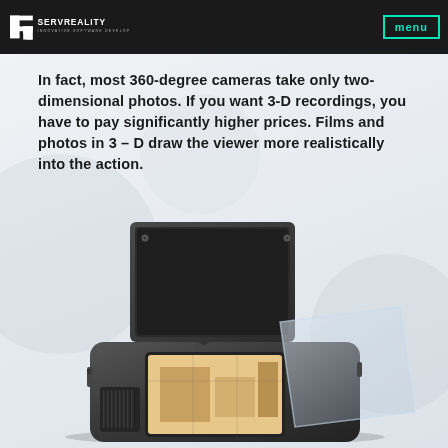SERVREALITY — INNOVATIVE SOFTWARE DEVELOPMENT | menu
In fact, most 360-degree cameras take only two-dimensional photos. If you want 3-D recordings, you have to pay significantly higher prices. Films and photos in 3 – D draw the viewer more realistically into the action.
[Figure (photo): Close-up photo of a 360-degree camera device with flip-up screens/panels, showing a small screen with an image displayed.]